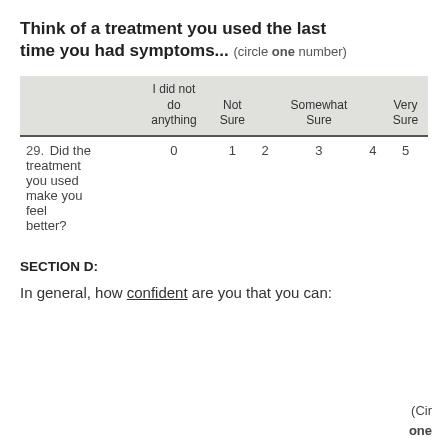Think of a treatment you used the last time you had symptoms... (circle one number)
|  | I did not do anything | Not Sure |  | Somewhat Sure |  | Very Sure |
| --- | --- | --- | --- | --- | --- | --- |
| 29. Did the treatment you used make you feel better? | 0 | 1 | 2 | 3 | 4 | 5 |
SECTION D:
In general, how confident are you that you can:
(Circle one